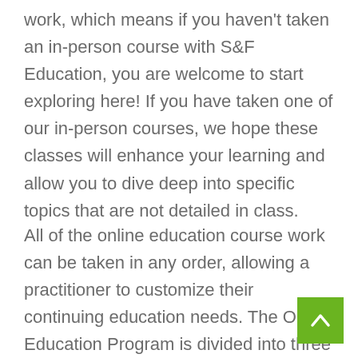work, which means if you haven't taken an in-person course with S&F Education, you are welcome to start exploring here! If you have taken one of our in-person courses, we hope these classes will enhance your learning and allow you to dive deep into specific topics that are not detailed in class.
All of the online education course work can be taken in any order, allowing a practitioner to customize their continuing education needs. The Online Education Program is divided into three categories.